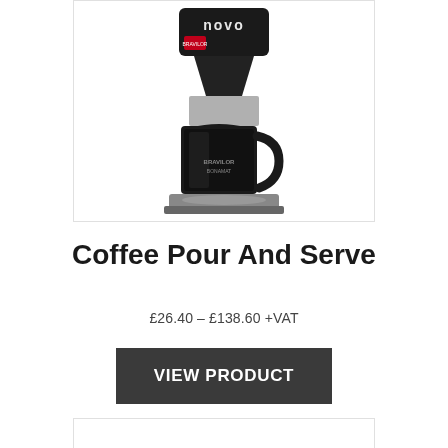[Figure (photo): Black drip coffee maker with 'novo' branding on top, featuring a glass carafe on a silver base. Product appears to be a Bravilor Bonamat coffee machine.]
Coffee Pour And Serve
£26.40 – £138.60 +VAT
VIEW PRODUCT
[Figure (photo): Bottom of next product image, partially visible]